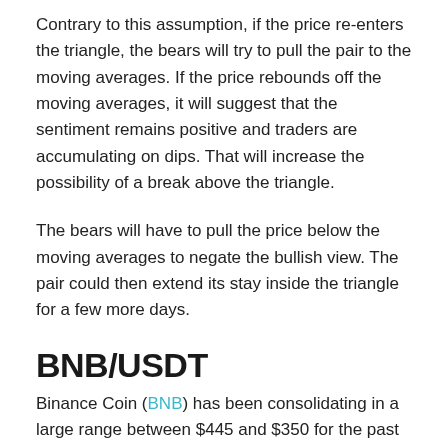Contrary to this assumption, if the price re-enters the triangle, the bears will try to pull the pair to the moving averages. If the price rebounds off the moving averages, it will suggest that the sentiment remains positive and traders are accumulating on dips. That will increase the possibility of a break above the triangle.
The bears will have to pull the price below the moving averages to negate the bullish view. The pair could then extend its stay inside the triangle for a few more days.
BNB/USDT
Binance Coin (BNB) has been consolidating in a large range between $445 and $350 for the past few days. There is a minor resistance at $425 but if bulls clear this hurdle, a move to $445 is possible.